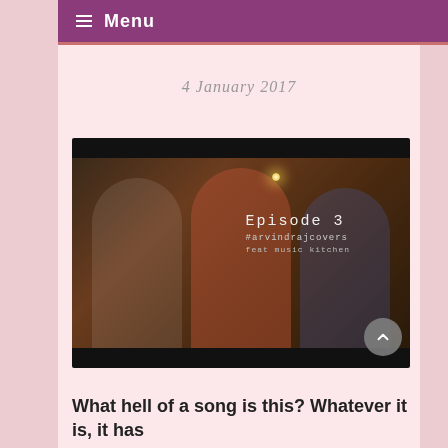≡ Menu
4 January 2017
[Figure (photo): Video thumbnail showing three musicians in a dimly lit room. Center person wears an orange kurta and stands at a microphone. Left and right musicians play keyboards. Text overlay reads: Episode 3 #arvindrajcovers feat music kitchen]
What hell of a song is this? Whatever it is, it has